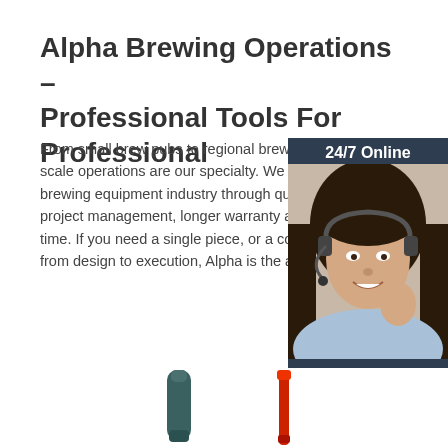Alpha Brewing Operations – Professional Tools For Professional
From small brew pubs to regional breweries, to large scale operations are our specialty. We lead the craft brewing equipment industry through quality, innovation, project management, longer warranty and shorter lead time. If you need a single piece, or a complete project from design to execution, Alpha is the a
[Figure (photo): Customer service representative woman with headset, part of a 24/7 Online chat widget with a dark blue background, 'Click here for free chat!' text, and an orange QUOTATION button]
Get Price
[Figure (photo): Two brewing tools/equipment items partially visible at the bottom of the page - one dark teal colored item on the left and one red item on the right]